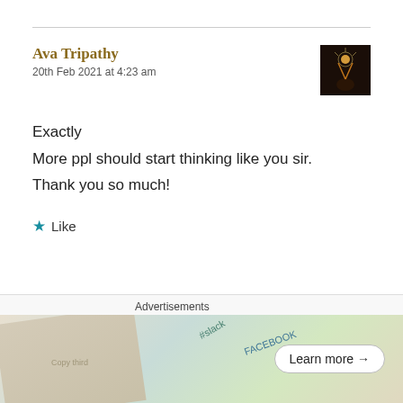Ava Tripathy
20th Feb 2021 at 4:23 am
Exactly
More ppl should start thinking like you sir.
Thank you so much!
★ Like
Reply
Pingback: Komorebi | rflienksy – Practicing
Advertisements
[Figure (screenshot): WordPress VIP advertisement banner with colorful background showing #slack, FACEBOOK text and a Learn more button]